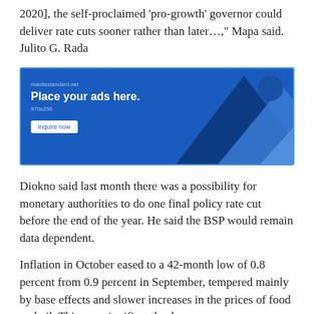2020], the self-proclaimed 'pro-growth' governor could deliver rate cuts sooner rather than later…," Mapa said. Julito G. Rada
[Figure (other): Advertisement banner for Manila Standard with blue background, geometric triangle shapes, text 'Place your ads here.' 970x250, and an 'Inquire now' button.]
Diokno said last month there was a possibility for monetary authorities to do one final policy rate cut before the end of the year. He said the BSP would remain data dependent.
Inflation in October eased to a 42-month low of 0.8 percent from 0.9 percent in September, tempered mainly by base effects and slower increases in the prices of food and oil. This was significantly slower